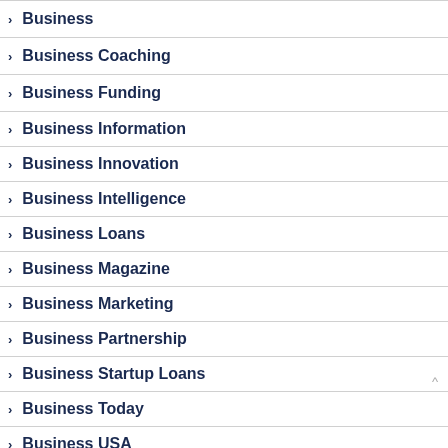Business
Business Coaching
Business Funding
Business Information
Business Innovation
Business Intelligence
Business Loans
Business Magazine
Business Marketing
Business Partnership
Business Startup Loans
Business Today
Business USA